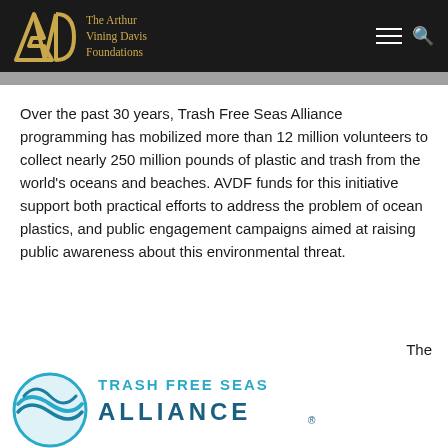The Arthur Vining Davis Foundations
Over the past 30 years, Trash Free Seas Alliance programming has mobilized more than 12 million volunteers to collect nearly 250 million pounds of plastic and trash from the world's oceans and beaches. AVDF funds for this initiative support both practical efforts to address the problem of ocean plastics, and public engagement campaigns aimed at raising public awareness about this environmental threat.
The
[Figure (logo): Trash Free Seas Alliance logo with circular wave icon in teal/blue and text 'TRASH FREE SEAS ALLIANCE' in teal and blue]